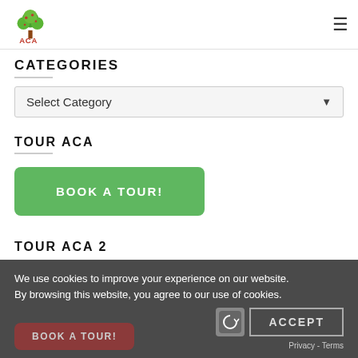[Figure (logo): ACA (A Child's Academy) logo with tree graphic]
CATEGORIES
Select Category
TOUR ACA
BOOK A TOUR!
TOUR ACA 2
We use cookies to improve your experience on our website. By browsing this website, you agree to our use of cookies.
BOOK A TOUR!
ACCEPT
Privacy - Terms